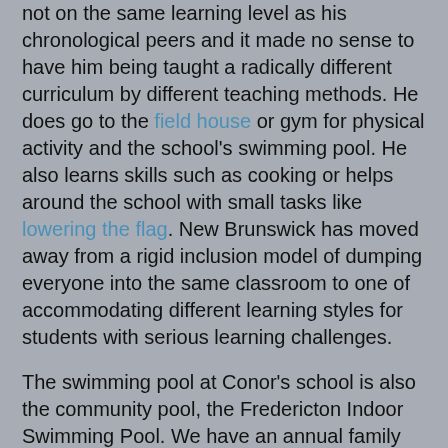not on the same learning level as his chronological peers and it made no sense to have him being taught a radically different curriculum by different teaching methods. He does go to the field house or gym for physical activity and the school's swimming pool. He also learns skills such as cooking or helps around the school with small tasks like lowering the flag. New Brunswick has moved away from a rigid inclusion model of dumping everyone into the same classroom to one of accommodating different learning styles for students with serious learning challenges.
The swimming pool at Conor's school is also the community pool, the Fredericton Indoor Swimming Pool. We have an annual family pass and use it frequently; 3 to 5 times a week. Last night we were at the pool and the teacher aide who worked with Conor last year was also there. Conor was excited to see him. Afterward, as he has periodically as the summer wore on, Conor was again asking for school. A pretty good recommendation for New Brunswick's autism education model.
New Brunswick's autism service model is not perfect. There